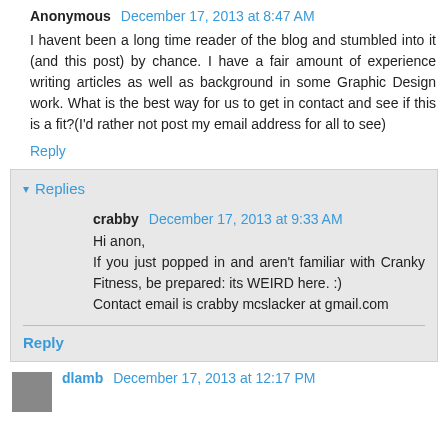Anonymous  December 17, 2013 at 8:47 AM
I havent been a long time reader of the blog and stumbled into it (and this post) by chance. I have a fair amount of experience writing articles as well as background in some Graphic Design work. What is the best way for us to get in contact and see if this is a fit?(I'd rather not post my email address for all to see)
Reply
Replies
crabby  December 17, 2013 at 9:33 AM
Hi anon,
If you just popped in and aren't familiar with Cranky Fitness, be prepared: its WEIRD here. :)
Contact email is crabby mcslacker at gmail.com
Reply
dlamb  December 17, 2013 at 12:17 PM